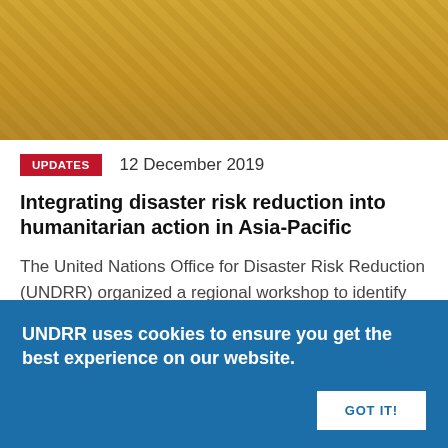[Figure (photo): Photo of a conference or workshop setting with yellow/gold chairs and a patterned carpet, partially visible attendees]
UPDATES   12 December 2019
Integrating disaster risk reduction into humanitarian action in Asia-Pacific
The United Nations Office for Disaster Risk Reduction (UNDRR) organized a regional workshop to identify entry points for enhanced integration of DRR into humanitarian programming in both recurrent and protracted crisis settings.
UNDRR uses cookies to ensure you get the best experience on our website.